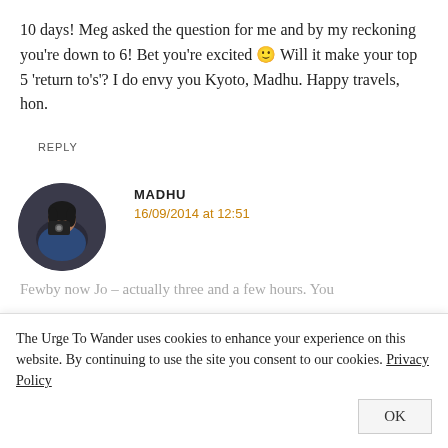10 days! Meg asked the question for me and by my reckoning you're down to 6! Bet you're excited 🙂 Will it make your top 5 'return to's'? I do envy you Kyoto, Madhu. Happy travels, hon.
REPLY
[Figure (photo): Circular avatar photo of Madhu, a woman holding a camera, wearing a blue top, dark background]
MADHU
16/09/2014 at 12:51
Fewby now Jo – actually three and a few hours. You
The Urge To Wander uses cookies to enhance your experience on this website. By continuing to use the site you consent to our cookies. Privacy Policy
OK